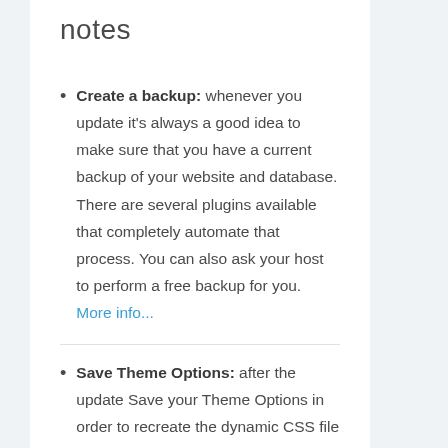notes
Create a backup: whenever you update it's always a good idea to make sure that you have a current backup of your website and database. There are several plugins available that completely automate that process. You can also ask your host to perform a free backup for you. More info...
Save Theme Options: after the update Save your Theme Options in order to recreate the dynamic CSS file with settings like custom colors and fonts.